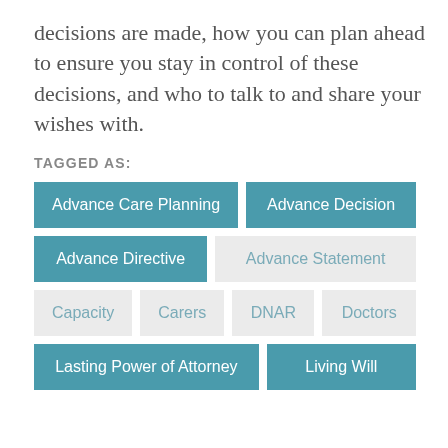decisions are made, how you can plan ahead to ensure you stay in control of these decisions, and who to talk to and share your wishes with.
TAGGED AS:
Advance Care Planning
Advance Decision
Advance Directive
Advance Statement
Capacity
Carers
DNAR
Doctors
Lasting Power of Attorney
Living Will